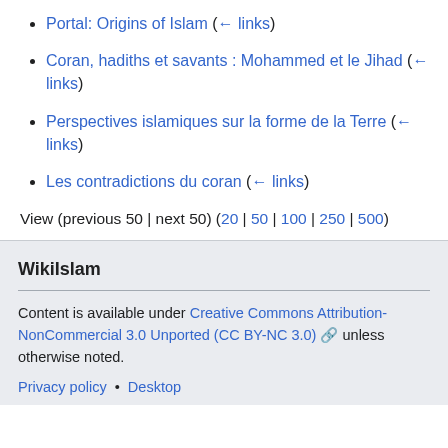Portal: Origins of Islam  (← links)
Coran, hadiths et savants : Mohammed et le Jihad  (← links)
Perspectives islamiques sur la forme de la Terre  (← links)
Les contradictions du coran  (← links)
View (previous 50 | next 50) (20 | 50 | 100 | 250 | 500)
WikiIslam
Content is available under Creative Commons Attribution-NonCommercial 3.0 Unported (CC BY-NC 3.0) unless otherwise noted.
Privacy policy • Desktop